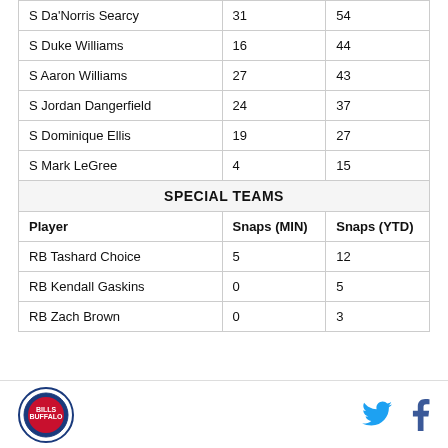| Player | Snaps (MIN) | Snaps (YTD) |
| --- | --- | --- |
| S Da'Norris Searcy | 31 | 54 |
| S Duke Williams | 16 | 44 |
| S Aaron Williams | 27 | 43 |
| S Jordan Dangerfield | 24 | 37 |
| S Dominique Ellis | 19 | 27 |
| S Mark LeGree | 4 | 15 |
| SPECIAL TEAMS |  |  |
| Player | Snaps (MIN) | Snaps (YTD) |
| RB Tashard Choice | 5 | 12 |
| RB Kendall Gaskins | 0 | 5 |
| RB Zach Brown | 0 | 3 |
Logo and social media icons